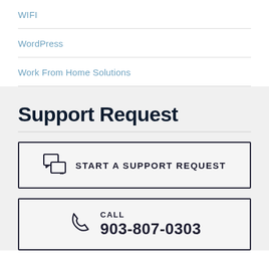WIFI
WordPress
Work From Home Solutions
Support Request
START A SUPPORT REQUEST
CALL
903-807-0303